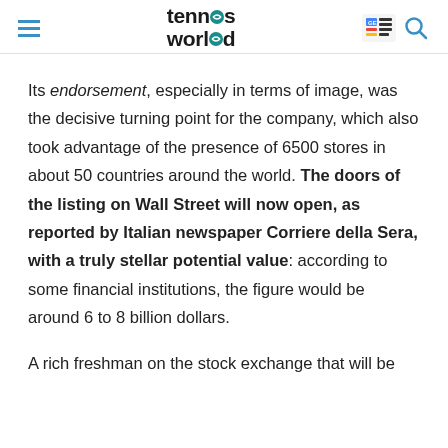tennis world
Its endorsement, especially in terms of image, was the decisive turning point for the company, which also took advantage of the presence of 6500 stores in about 50 countries around the world. The doors of the listing on Wall Street will now open, as reported by Italian newspaper Corriere della Sera, with a truly stellar potential value: according to some financial institutions, the figure would be around 6 to 8 billion dollars.

A rich freshman on the stock exchange that will be